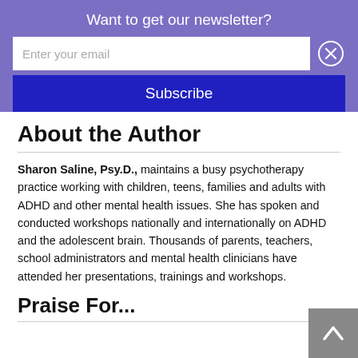Want to get our newsletter?
Enter your email
Subscribe
About the Author
Sharon Saline, Psy.D., maintains a busy psychotherapy practice working with children, teens, families and adults with ADHD and other mental health issues. She has spoken and conducted workshops nationally and internationally on ADHD and the adolescent brain. Thousands of parents, teachers, school administrators and mental health clinicians have attended her presentations, trainings and workshops.
Praise For...